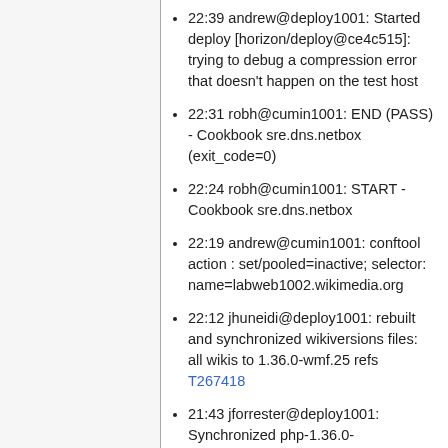22:39 andrew@deploy1001: Started deploy [horizon/deploy@ce4c515]: trying to debug a compression error that doesn't happen on the test host
22:31 robh@cumin1001: END (PASS) - Cookbook sre.dns.netbox (exit_code=0)
22:24 robh@cumin1001: START - Cookbook sre.dns.netbox
22:19 andrew@cumin1001: conftool action : set/pooled=inactive; selector: name=labweb1002.wikimedia.org
22:12 jhuneidi@deploy1001: rebuilt and synchronized wikiversions files: all wikis to 1.36.0-wmf.25 refs T267418
21:43 jforrester@deploy1001: Synchronized php-1.36.0-wmf.25/extensions/CodeMirror/resource T271457 Guard against WikiEditor